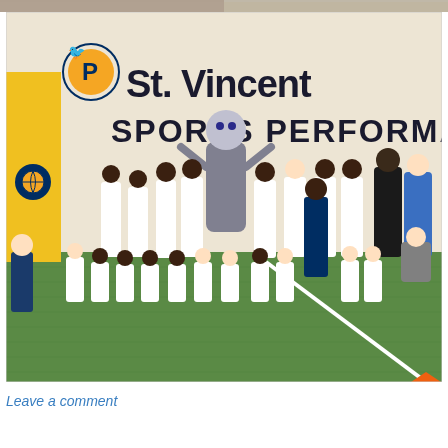[Figure (photo): Two partial photos at top of page: left shows people (cropped), right shows people (cropped)]
[Figure (photo): Group photo of children and adults in matching white t-shirts with Indiana Pacers mascot Boomer, taken inside the St. Vincent Sports Performance facility. A sign on the wall reads 'St. Vincent SPORTS PERFORMANCE' with the Indiana Pacers logo. The group is standing on green artificial turf with a white line visible.]
Leave a comment